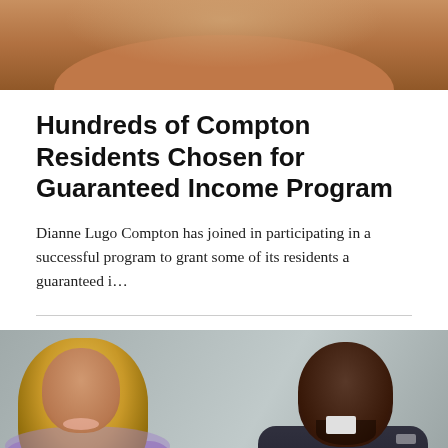[Figure (photo): Partial photo at top of page showing a person from the torso up in a brown/tan outfit, cropped at top]
Hundreds of Compton Residents Chosen for Guaranteed Income Program
Dianne Lugo Compton has joined in participating in a successful program to grant some of its residents a guaranteed i…
[Figure (photo): Photo of two people: a woman with long blonde hair in a light purple outfit on the left, and a man in a dark suit with a purple tie on the right, posed back-to-back against a gray background]